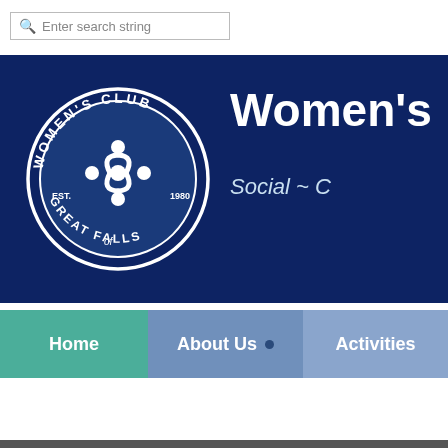[Figure (screenshot): Search bar with magnifying glass icon and placeholder text 'Enter search string']
[Figure (logo): Women's Club of Great Falls logo — circular badge on dark navy banner with bold white title 'Women's' and italic subtitle 'Social ~ C...']
Home
About Us
Activities